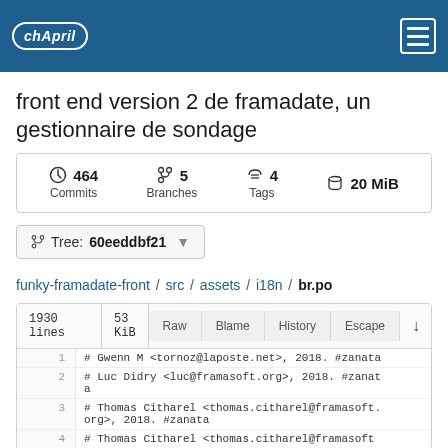chApril
front end version 2 de framadate, un gestionnaire de sondage
| Commits | Branches | Tags | Size |
| --- | --- | --- | --- |
| 464 Commits | 5 Branches | 4 Tags | 20 MiB |
Tree: 60eeddbf21
funky-framadate-front / src / assets / i18n / br.po
| lines | size | Raw | Blame | History | Escape | download |
| --- | --- | --- | --- | --- | --- | --- |
| 1930 lines | 53 KiB | Raw | Blame | History | Escape | ↓ |
| 1 | # Gwenn M <tornoz@laposte.net>, 2018. #zanata |  |  |  |  |  |
| 2 | # Luc Didry <luc@framasoft.org>, 2018. #zanata |  |  |  |  |  |
| 3 | # Thomas Citharel <thomas.citharel@framasoft.org>, 2018. #zanata |  |  |  |  |  |
| 4 | # Thomas Citharel <thomas.citharel@framasoft... |  |  |  |  |  |